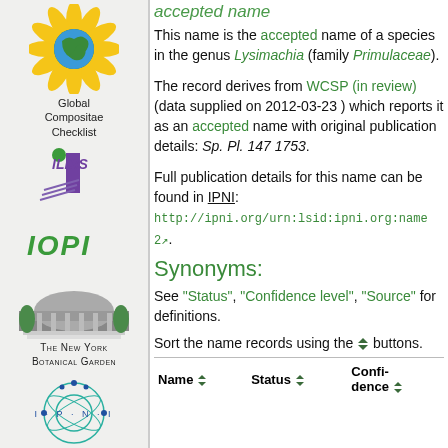[Figure (logo): Global Compositae Checklist logo with sunflower and globe]
[Figure (logo): ILDIS logo with purple bar and pencil graphic]
[Figure (logo): IOPI green text logo]
[Figure (logo): The New York Botanical Garden logo with dome building illustration]
[Figure (logo): IPNI circular logo with orbital design]
accepted name
This name is the accepted name of a species in the genus Lysimachia (family Primulaceae).
The record derives from WCSP (in review) (data supplied on 2012-03-23 ) which reports it as an accepted name with original publication details: Sp. Pl. 147 1753.
Full publication details for this name can be found in IPNI: http://ipni.org/urn:lsid:ipni.org:name 2↗.
Synonyms:
See "Status", "Confidence level", "Source" for definitions.
Sort the name records using the ⬧ buttons.
| Name | Status | Confidence |
| --- | --- | --- |